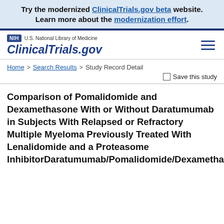Try the modernized ClinicalTrials.gov beta website. Learn more about the modernization effort.
[Figure (logo): NIH badge and U.S. National Library of Medicine logo with ClinicalTrials.gov wordmark and hamburger menu icon]
Home > Search Results > Study Record Detail
Save this study
Comparison of Pomalidomide and Dexamethasone With or Without Daratumumab in Subjects With Relapsed or Refractory Multiple Myeloma Previously Treated With Lenalidomide and a Proteasome InhibitorDaratumumab/Pomalidomide/Dexamethasone